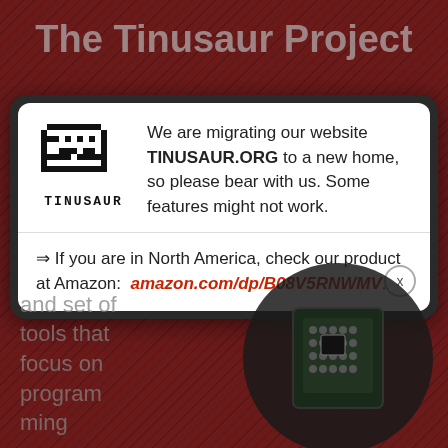The Tinusaur Project
[Figure (screenshot): A modal dialog popup on the Tinusaur Project website. Contains the Tinusaur pixel-art logo with the word TINUSAUR below it, a migration notice message, and an Amazon product link. There is a close button (x) at the bottom right of the modal.]
We are migrating our website TINUSAUR.ORG to a new home, so please bear with us. Some features might not work.
⇒ If you are in North America, check our product at Amazon:  amazon.com/dp/B08V5RNWMV.
and set of tools that focus on program ming